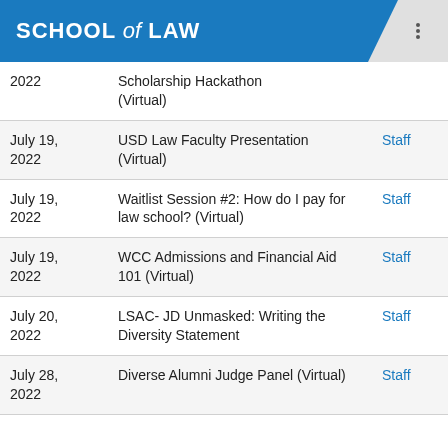SCHOOL of LAW
| Date | Event |  |
| --- | --- | --- |
| 2022 | Scholarship Hackathon (Virtual) |  |
| July 19, 2022 | USD Law Faculty Presentation (Virtual) | Staff |
| July 19, 2022 | Waitlist Session #2: How do I pay for law school? (Virtual) | Staff |
| July 19, 2022 | WCC Admissions and Financial Aid 101 (Virtual) | Staff |
| July 20, 2022 | LSAC- JD Unmasked: Writing the Diversity Statement | Staff |
| July 28, 2022 | Diverse Alumni Judge Panel (Virtual) | Staff |